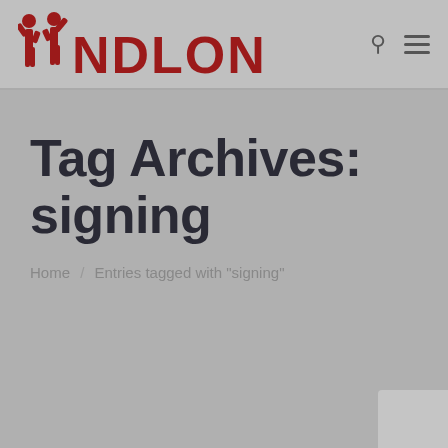NDLON
Tag Archives: signing
Home / Entries tagged with "signing"